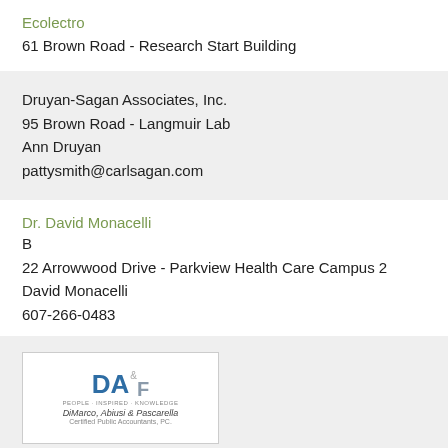Ecolectro
61 Brown Road - Research Start Building
Druyan-Sagan Associates, Inc.
95 Brown Road - Langmuir Lab
Ann Druyan
pattysmith@carlsagan.com
Dr. David Monacelli
B
22 Arrowwood Drive - Parkview Health Care Campus 2
David Monacelli
607-266-0483
[Figure (logo): DiMarco, Abiusi & Pascarella logo with stylized DA&F letters and firm name]
DiMarco, Abiusi and Pascarella
15 Thornwood Drive - Thornwood Corporate Center